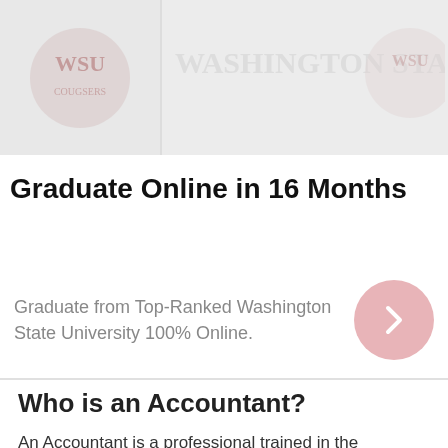[Figure (photo): Washington State University logo/banner images shown in two panels at the top]
Graduate Online in 16 Months
Graduate from Top-Ranked Washington State University 100% Online.
Who is an Accountant?
An Accountant is a professional trained in the management of financial records or accounts. These professionals are tasked with recording,